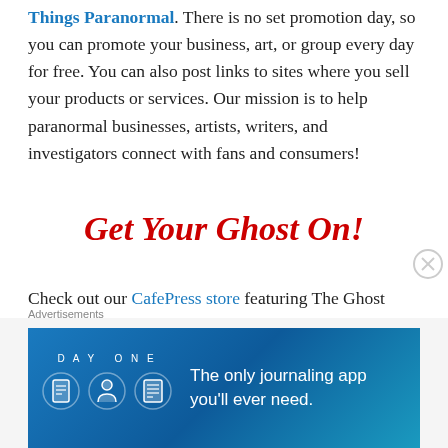Things Paranormal. There is no set promotion day, so you can promote your business, art, or group every day for free. You can also post links to sites where you sell your products or services. Our mission is to help paranormal businesses, artists, writers, and investigators connect with fans and consumers!
Get Your Ghost On!
Check out our CafePress store featuring The Ghost Post's official mascot, Spook. We've got awesome coffee mugs, t-shirts, and more!
Advertisements
[Figure (infographic): DAY ONE journaling app advertisement banner with blue gradient background, app logo icons (notebook, person, notepad), and text: The only journaling app you'll ever need.]